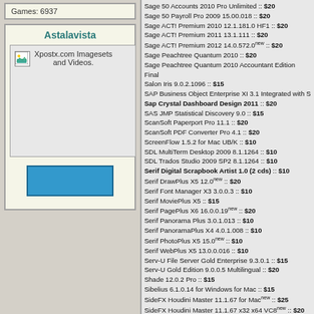Games: 6937
Astalavista
[Figure (illustration): Xpostx.com Imagesets and Videos. Small image icon with leaf/image symbol, followed by text label. Below is a blue rectangular button.]
Sage 50 Accounts 2010 Pro Unlimited :: $20
Sage 50 Payroll Pro 2009 15.00.018 :: $20
Sage ACT! Premium 2010 12.1.181.0 HF1 :: $20
Sage ACT! Premium 2011 13.1.111 :: $20
Sage ACT! Premium 2012 14.0.572.0new :: $20
Sage Peachtree Quantum 2010 :: $20
Sage Peachtree Quantum 2010 Accountant Edition Final
Salon Iris 9.0.2.1096 :: $15
SAP Business Object Enterprise XI 3.1 Integrated with S
Sap Crystal Dashboard Design 2011 :: $20
SAS JMP Statistical Discovery 9.0 :: $15
ScanSoft Paperport Pro 11.1 :: $20
ScanSoft PDF Converter Pro 4.1 :: $20
ScreenFlow 1.5.2 for Mac UB/K :: $10
SDL MultiTerm Desktop 2009 8.1.1264 :: $10
SDL Trados Studio 2009 SP2 8.1.1264 :: $10
Serif Digital Scrapbook Artist 1.0 (2 cds) :: $10
Serif DrawPlus X5 12.0new :: $20
Serif Font Manager X3 3.0.0.3 :: $10
Serif MoviePlus X5 :: $15
Serif PagePlus X6 16.0.0.19new :: $20
Serif Panorama Plus 3.0.1.013 :: $10
Serif PanoramaPlus X4 4.0.1.008 :: $10
Serif PhotoPlus X5 15.0new :: $10
Serif WebPlus X5 13.0.0.016 :: $10
Serv-U File Server Gold Enterprise 9.3.0.1 :: $15
Serv-U Gold Edition 9.0.0.5 Multilingual :: $20
Shade 12.0.2 Pro :: $15
Sibelius 6.1.0.14 for Windows for Mac :: $15
SideFX Houdini Master 11.1.67 for Macnew :: $25
SideFX Houdini Master 11.1.67 x32 x64 VC8new :: $20
Siemens NX I-DEAS 6.1 :: $10
Siemens PLM Femap 10.2.0 x32 x64 with NX Nastran :: $
Siemens PLM NX 7.5 (2 cds) :: $15
Siemens PLM NX 8.0.0.25 :: $15
Siemens PLM NX Nastran 7.0 :: $15
Siemens Simatic PDM 6.0 SP5 :: $15
Siemens Simatic Step7 Pro Edition 2010 :: $20
Siemens Simatic WinCC 7.0 SP1 :: $15